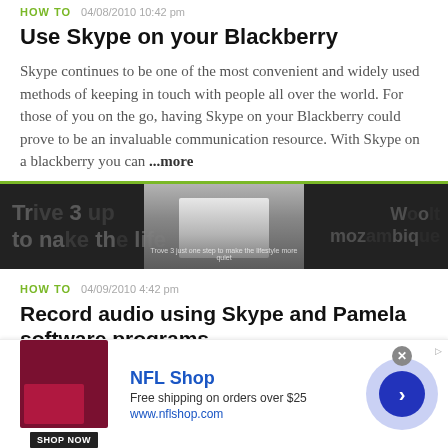HOW TO   04/08/2010 10:42 pm
Use Skype on your Blackberry
Skype continues to be one of the most convenient and widely used methods of keeping in touch with people all over the world. For those of you on the go, having Skype on your Blackberry could prove to be an invaluable communication resource. With Skype on a blackberry you can ...more
[Figure (photo): Dark banner image with blurred text overlay and a person in the center]
HOW TO   04/09/2010 4:42 pm
Record audio using Skype and Pamela software programs
This short one-minute tutorial shows you how to record on
[Figure (infographic): NFL Shop advertisement banner with shop now button, free shipping offer, and navigation arrow]